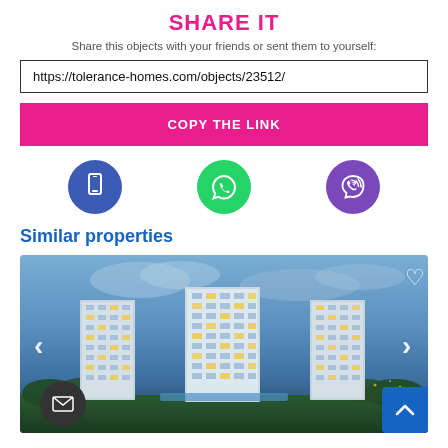SHARE IT
Share this objects with your friends or sent them to yourself:
https://tolerance-homes.com/objects/23512/
COPY THE LINK
[Figure (illustration): Three circular social media/contact icons: blue phone/mobile icon, green WhatsApp phone icon, purple Viber icon]
Similar properties
[Figure (photo): A twilight photo of modern high-rise residential apartment buildings arranged in a curved layout, with trees and city lights in the background, navigation arrows on left and right, heart/favorite icon top right]